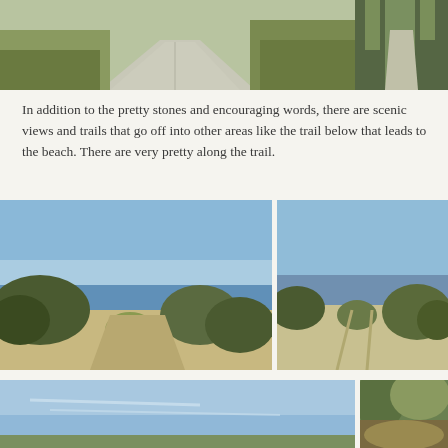[Figure (photo): Two outdoor photos at top: left showing a paved path with grassy areas alongside it (wide view), right showing a tree-lined road or path.]
In addition to the pretty stones and encouraging words, there are scenic views and trails that go off into other areas like the trail below that leads to the beach. There are very pretty along the trail.
[Figure (photo): Two beach access photos side by side: left showing a sandy path through shrubs and trees leading to a beach with blue sky, right showing a wide sandy beach area with low vegetation and blue sky.]
[Figure (photo): Two photos at bottom: left showing a wide blue sky with light clouds over a landscape, right showing a forested hillside or dune.]